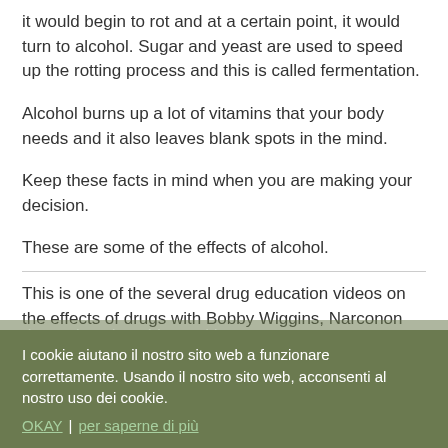it would begin to rot and at a certain point, it would turn to alcohol. Sugar and yeast are used to speed up the rotting process and this is called fermentation.
Alcohol burns up a lot of vitamins that your body needs and it also leaves blank spots in the mind.
Keep these facts in mind when you are making your decision.
These are some of the effects of alcohol.
This is one of the several drug education videos on the effects of drugs with Bobby Wiggins, Narconon
I cookie aiutano il nostro sito web a funzionare correttamente. Usando il nostro sito web, acconsenti al nostro uso dei cookie.
OKAY | per saperne di più